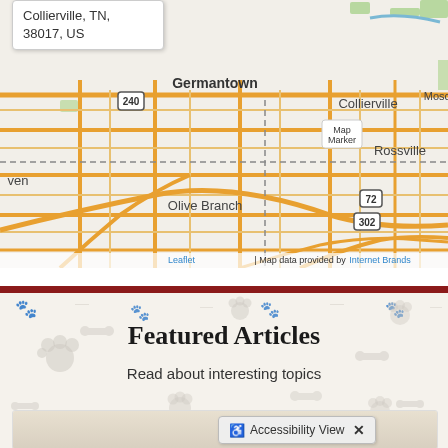[Figure (map): Street map showing Collierville, TN area with Germantown, Olive Branch, Rossville, and road markers including routes 240, 72, and 302. A map popup shows 'Collierville, TN, 38017, US'. Map attribution reads 'Leaflet | Map data provided by Internet Brands'.]
Featured Articles
Read about interesting topics
Accessibility View ×